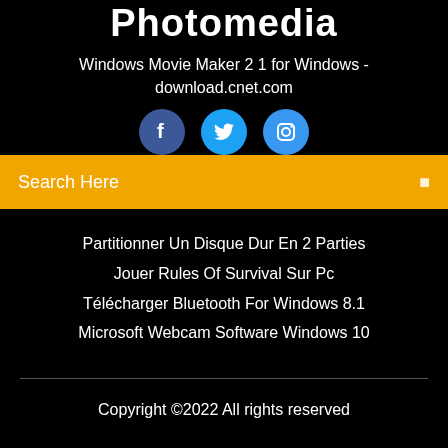Photomedia
Windows Movie Maker 2 1 for Windows - download.cnet.com
[Figure (illustration): Three social media icon buttons: Facebook (dark blue circle with 'f'), Twitter (medium blue circle with bird icon), Instagram (light blue circle with camera icon)]
Search Here
Partitionner Un Disque Dur En 2 Parties
Jouer Rules Of Survival Sur Pc
Télécharger Bluetooth For Windows 8.1
Microsoft Webcam Software Windows 10
Copyright ©2022 All rights reserved